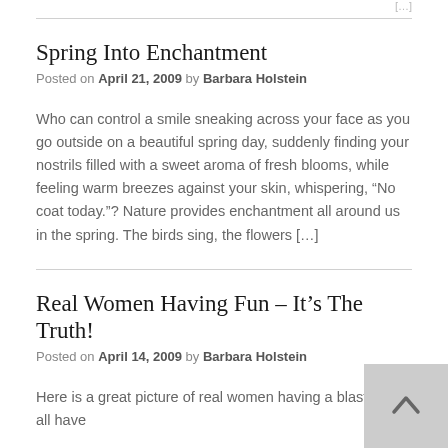Spring Into Enchantment
Posted on April 21, 2009 by Barbara Holstein
Who can control a smile sneaking across your face as you go outside on a beautiful spring day, suddenly finding your nostrils filled with a sweet aroma of fresh blooms, while feeling warm breezes against your skin, whispering, “No coat today.”? Nature provides enchantment all around us in the spring. The birds sing, the flowers […]
Real Women Having Fun – It’s The Truth!
Posted on April 14, 2009 by Barbara Holstein
Here is a great picture of real women having a blast. We all have